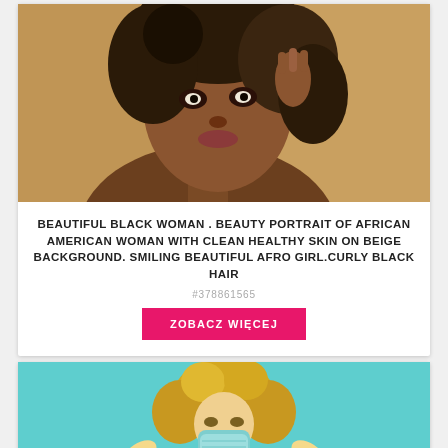[Figure (photo): Portrait photo of a beautiful Black woman with curly afro hair against a beige background, looking at camera with hand near face]
BEAUTIFUL BLACK WOMAN . BEAUTY PORTRAIT OF AFRICAN AMERICAN WOMAN WITH CLEAN HEALTHY SKIN ON BEIGE BACKGROUND. SMILING BEAUTIFUL AFRO GIRL.CURLY BLACK HAIR
#378861565
ZOBACZ WIĘCEJ
[Figure (photo): Photo of a blonde curly-haired woman wearing a blue/teal surgical face mask against a turquoise background, with hands raised]